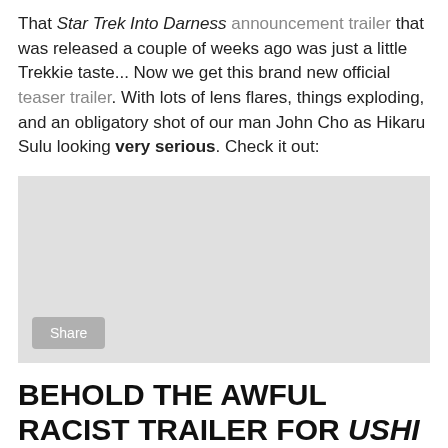That Star Trek Into Darness announcement trailer that was released a couple of weeks ago was just a little Trekkie taste... Now we get this brand new official teaser trailer. With lots of lens flares, things exploding, and an obligatory shot of our man John Cho as Hikaru Sulu looking very serious. Check it out:
[Figure (screenshot): Embedded video player with grey background and a Share button in the lower left]
BEHOLD THE AWFUL RACIST TRAILER FOR USHI MUST MARRY
[Figure (photo): Photo of a person wearing glasses and a headset inside a vehicle, with the Hollywood sign visible in the background]